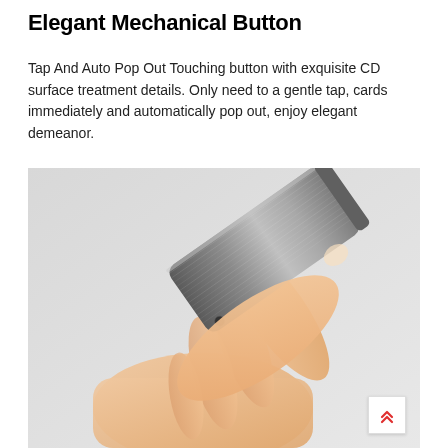Elegant Mechanical Button
Tap And Auto Pop Out Touching button with exquisite CD surface treatment details. Only need to a gentle tap, cards immediately and automatically pop out, enjoy elegant demeanor.
[Figure (photo): A hand holding a slim rectangular metal card holder/case at an angle, showing the elegant brushed aluminum surface with a mechanical button. The background is light gray.]